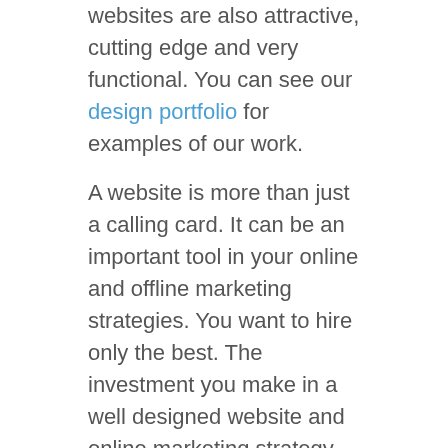websites are also attractive, cutting edge and very functional. You can see our design portfolio for examples of our work.
A website is more than just a calling card. It can be an important tool in your online and offline marketing strategies. You want to hire only the best. The investment you make in a well designed website and online marketing strategy can make a big impact on your bottom line. A well designed website should earn a higher ROI every time. Our highly trained, experienced team knows how to develop websites that perform far better than most.
One of the Best Web Design Companies for Uvalde TX
When it comes to service, we are